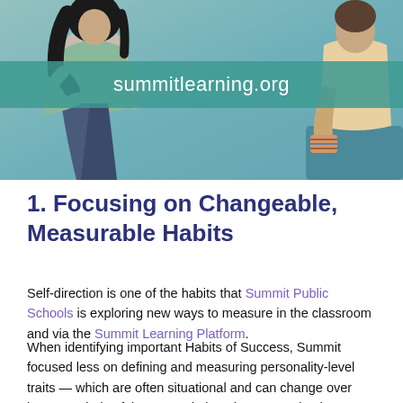[Figure (photo): Photo of two people sitting and talking, with a teal/turquoise background. A banner overlay reads 'summitlearning.org'.]
1. Focusing on Changeable, Measurable Habits
Self-direction is one of the habits that Summit Public Schools is exploring new ways to measure in the classroom and via the Summit Learning Platform.
When identifying important Habits of Success, Summit focused less on defining and measuring personality-level traits — which are often situational and can change over longer periods of time — and placed more emphasis on specific learning behaviors that can be impacted by the learning environment and good teaching practices.